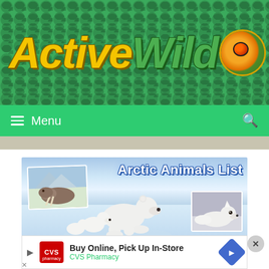[Figure (logo): ActiveWild website logo with yellow 'Active' and green 'Wild' text in bold italic font on green scaly background, with a red-eyed tree frog in a gold-bordered circle]
Menu
[Figure (photo): Arctic Animals List banner image showing walrus photo inset, polar bear with cubs on icy landscape, arctic fox photo inset, with bold white text 'Arctic Animals List']
[Figure (photo): CVS Pharmacy advertisement banner: 'Buy Online, Pick Up In-Store' with CVS Pharmacy logo and navigation icon]